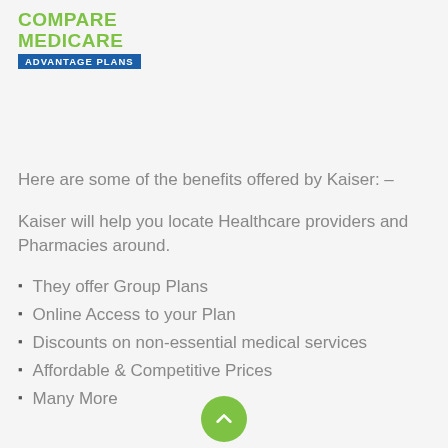[Figure (logo): Compare Medicare Advantage Plans logo with green text and blue banner]
Here are some of the benefits offered by Kaiser: –
Kaiser will help you locate Healthcare providers and Pharmacies around.
They offer Group Plans
Online Access to your Plan
Discounts on non-essential medical services
Affordable & Competitive Prices
Many More